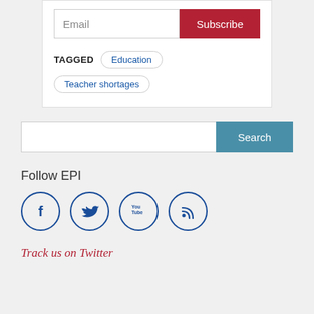Email | Subscribe
TAGGED  Education  Teacher shortages
Search
Follow EPI
[Figure (other): Four social media icon circles: Facebook, Twitter, YouTube, RSS]
Track us on Twitter